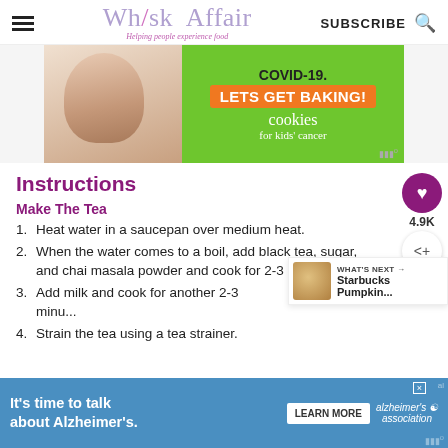Whisk Affair — Helping people experience food — SUBSCRIBE
[Figure (infographic): Advertisement banner: COVID-19. LETS GET BAKING! cookies for kids cancer, with image of hands holding jar]
Instructions
Make The Tea
1. Heat water in a saucepan over medium heat.
2. When the water comes to a boil, add black tea, sugar, and chai masala powder and cook for 2-3 minutes.
3. Add milk and cook for another 2-3 minu...
4. Strain the tea using a tea strainer.
[Figure (infographic): Advertisement banner: It's time to talk about Alzheimer's. LEARN MORE. Alzheimer's Association logo.]